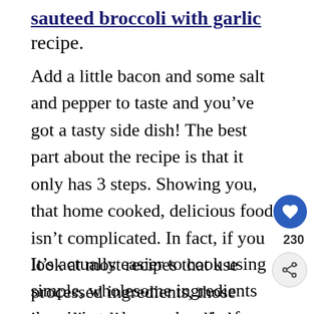sauteed broccoli with garlic recipe.
Add a little bacon and some salt and pepper to taste and you've got a tasty side dish! The best part about the recipe is that it only has 3 steps. Showing you, that home cooked, delicious food isn't complicated. In fact, if you look at most recipes that use processed ingredients, those ingredient lists are usually longer and require more steps.
It's actually easier to cook using simple, wholesome ingredients than it is to dump a bunch of stuff together and cook it. The